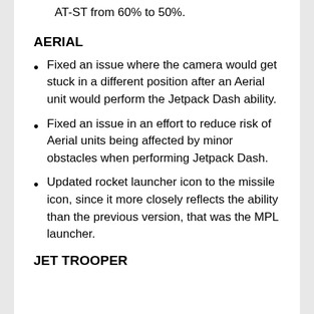Reduced the Battle Points multiplier of the AT-ST from 60% to 50%.
AERIAL
Fixed an issue where the camera would get stuck in a different position after an Aerial unit would perform the Jetpack Dash ability.
Fixed an issue in an effort to reduce risk of Aerial units being affected by minor obstacles when performing Jetpack Dash.
Updated rocket launcher icon to the missile icon, since it more closely reflects the ability than the previous version, that was the MPL launcher.
JET TROOPER